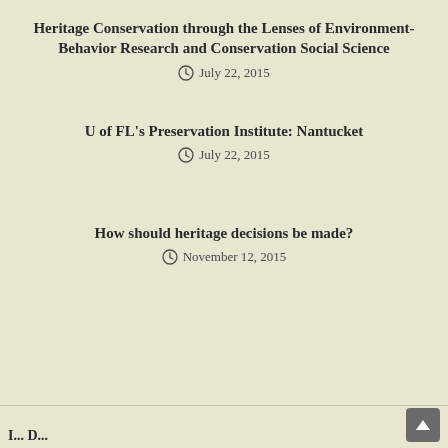Heritage Conservation through the Lenses of Environment-Behavior Research and Conservation Social Science
July 22, 2015
U of FL's Preservation Institute: Nantucket
July 22, 2015
How should heritage decisions be made?
November 12, 2015
I... D...